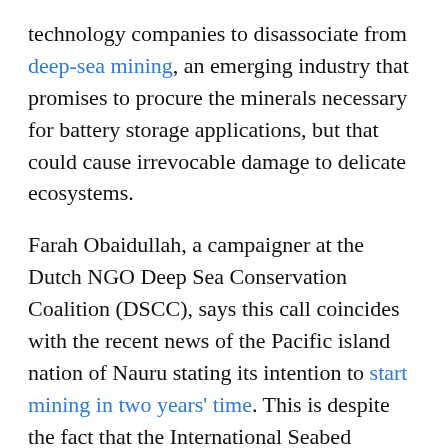technology companies to disassociate from deep-sea mining, an emerging industry that promises to procure the minerals necessary for battery storage applications, but that could cause irrevocable damage to delicate ecosystems.
Farah Obaidullah, a campaigner at the Dutch NGO Deep Sea Conservation Coalition (DSCC), says this call coincides with the recent news of the Pacific island nation of Nauru stating its intention to start mining in two years' time. This is despite the fact that the International Seabed Authority (ISA), the U.N.-mandated body overseeing deep-sea mining in international waters, has not yet agreed upon overarching rules and regulations.
"It's an extractive industry that we just should not be embarking on," Obaidullah told Mongabay in an